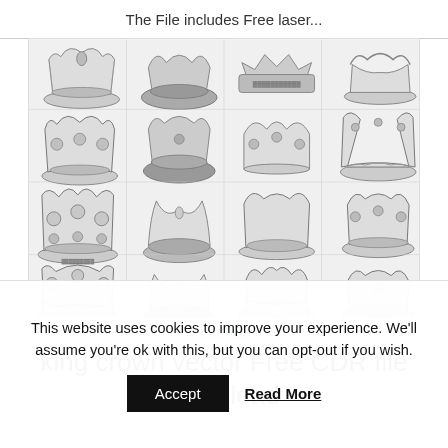The File includes Free laser...
[Figure (illustration): Grid of various decorative king crown illustrations in black and white/grayscale, arranged in 4 columns and approximately 4-5 rows showing different crown styles.]
Cdr file
king crown vector Free CDR file download
This website uses cookies to improve your experience. We'll assume you're ok with this, but you can opt-out if you wish.